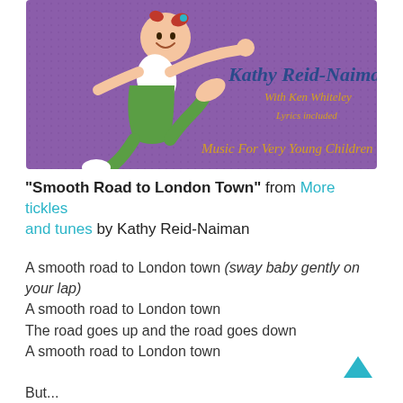[Figure (illustration): Album cover for 'More Tickles and Tunes' by Kathy Reid-Naiman with Ken Whiteley. Purple background with a cartoon child in green overalls jumping/leaping with arms outstretched. Text on cover: 'Kathy Reid-Naiman', 'With Ken Whiteley', 'Lyrics included', 'Music For Very Young Children'.]
“Smooth Road to London Town” from More tickles and tunes by Kathy Reid-Naiman
A smooth road to London town (sway baby gently on your lap)
A smooth road to London town
The road goes up and the road goes down
A smooth road to London town

But...